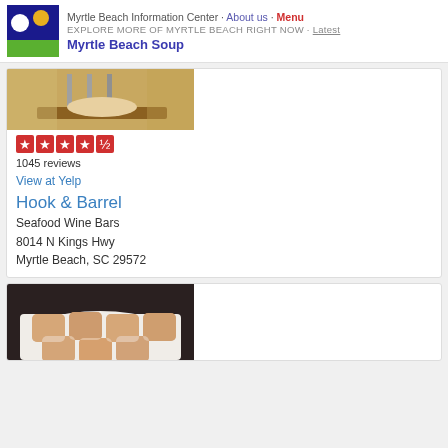Myrtle Beach Information Center · About us · Menu
EXPLORE MORE OF MYRTLE BEACH RIGHT NOW · Latest
Myrtle Beach Soup
[Figure (photo): Photo of food on a wooden board with metal dispensers, at a restaurant]
[Figure (other): Yelp 4.5-star rating display showing 5 red star boxes]
1045 reviews
View at Yelp
Hook & Barrel
Seafood Wine Bars
8014 N Kings Hwy
Myrtle Beach, SC 29572
[Figure (photo): Photo of powdered sugar beignets or fried pastries in a white paper-lined basket]